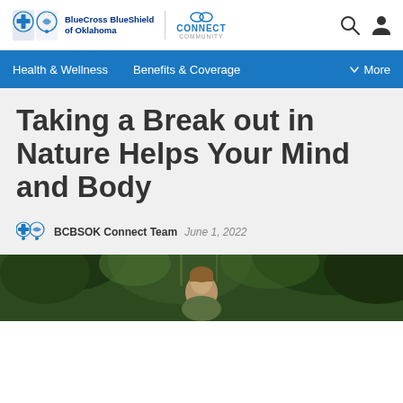BlueCross BlueShield of Oklahoma | CONNECT COMMUNITY
Health & Wellness   Benefits & Coverage   ∨ More
Taking a Break out in Nature Helps Your Mind and Body
BCBSOK Connect Team   June 1, 2022
[Figure (photo): Person looking up amidst lush green nature/forest background]